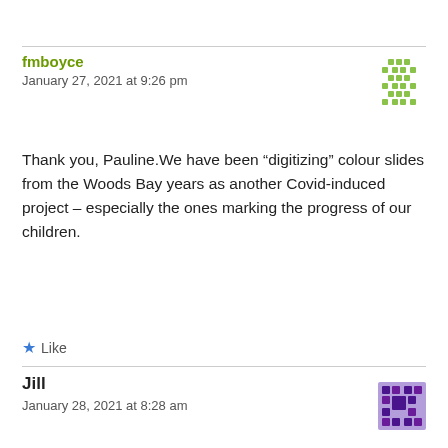fmboyce
January 27, 2021 at 9:26 pm
Thank you, Pauline.We have been “digitizing” colour slides from the Woods Bay years as another Covid-induced project – especially the ones marking the progress of our children.
★ Like
Reply
Jill
January 28, 2021 at 8:28 am